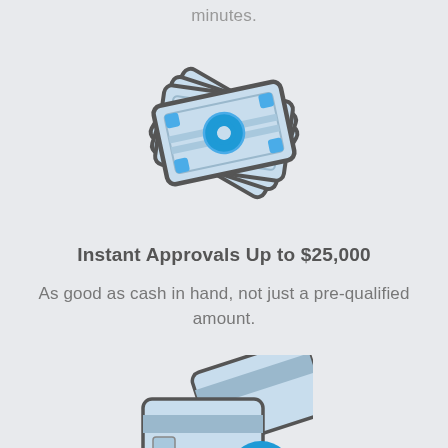minutes.
[Figure (illustration): Illustration of a fanned stack of banknotes/cash bills in light blue with gray outlines and a blue circle in the center, tilted at an angle]
Instant Approvals Up to $25,000
As good as cash in hand, not just a pre-qualified amount.
[Figure (illustration): Illustration of two credit cards in light blue with gray outlines, with a blue circle containing a white X mark overlaid on the bottom right corner]